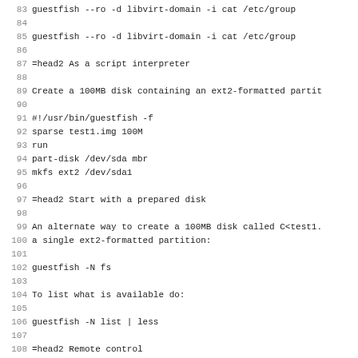83  guestfish --ro -d libvirt-domain -i cat /etc/group (truncated)
84
85  guestfish --ro -d libvirt-domain -i cat /etc/group
86
87 =head2 As a script interpreter
88
89 Create a 100MB disk containing an ext2-formatted partit
90
91  #!/usr/bin/guestfish -f
92  sparse test1.img 100M
93  run
94  part-disk /dev/sda mbr
95  mkfs ext2 /dev/sda1
96
97 =head2 Start with a prepared disk
98
99 An alternate way to create a 100MB disk called C<test1.
100 a single ext2-formatted partition:
101
102  guestfish -N fs
103
104 To list what is available do:
105
106  guestfish -N list | less
107
108 =head2 Remote control
109
110  eval `guestfish --listen --ro`
111  guestfish --remote add disk.img
112  guestfish --remote run
113  guestfish --remote lvs
114
115 =head1 DESCRIPTION